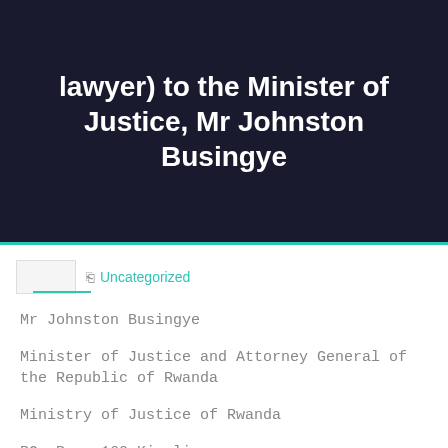lawyer) to the Minister of Justice, Mr Johnston Busingye
Uncategorized
Mr Johnston Busingye
Minister of Justice and Attorney General of the Republic of Rwanda
Ministry of Justice of Rwanda
PO. Box: 160 Kigali
Rwanda